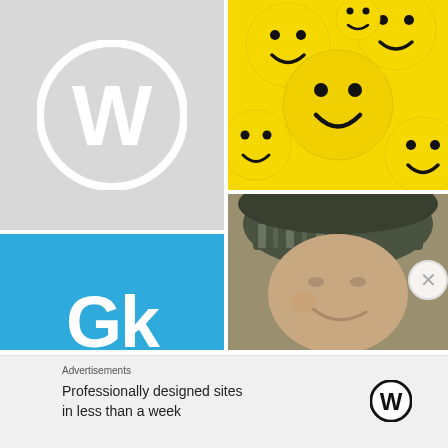[Figure (logo): WordPress logo: white W in a circle on light gray background]
[Figure (logo): Gk logo letters in white on blue background]
[Figure (photo): Multiple yellow smiley face ball toys clustered together]
[Figure (photo): Close-up photo of a smiling person wearing a dark olive/gray headband]
Advertisements
Professionally designed sites in less than a week
[Figure (logo): WordPress W logo icon in black circle]